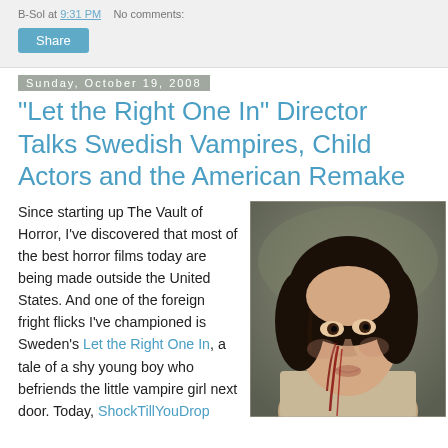B-Sol at 9:31 PM   No comments:
Share
Sunday, October 19, 2008
"Let the Right One In" Director Talks Swedish Vampires, Child Actors and the American Remake
Since starting up The Vault of Horror, I've discovered that most of the best horror films today are being made outside the United States. And one of the foreign fright flicks I've championed is Sweden's Let the Right One In, a tale of a shy young boy who befriends the little vampire girl next door. Today, ShockTillYouDrop
[Figure (photo): A young girl with dark curly hair and blood streaked on her face and neck, still from the film Let the Right One In]